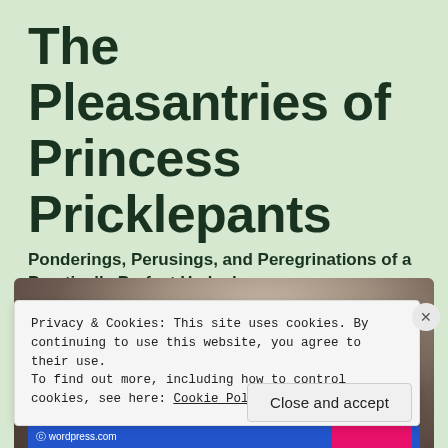The Pleasantries of Princess Pricklepants
Ponderings, Perusings, and Peregrinations of a Practically Perfect Hedgehog
[Figure (photo): Close-up photo of a hedgehog viewed from above, showing spines and face]
Privacy & Cookies: This site uses cookies. By continuing to use this website, you agree to their use.
To find out more, including how to control cookies, see here: Cookie Policy
Close and accept